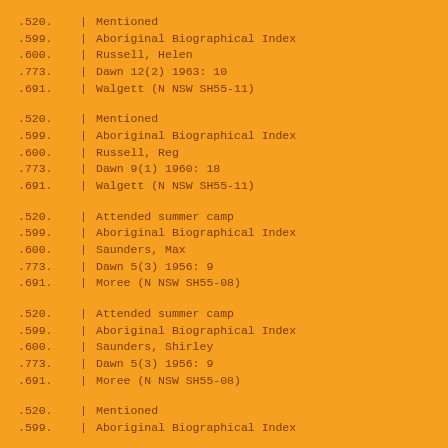.520. | Mentioned
.599. | Aboriginal Biographical Index
.600. | Russell, Helen
.773. | Dawn 12(2) 1963: 10
.691. | Walgett (N NSW SH55-11)
.520. | Mentioned
.599. | Aboriginal Biographical Index
.600. | Russell, Reg
.773. | Dawn 9(1) 1960: 18
.691. | Walgett (N NSW SH55-11)
.520. | Attended summer camp
.599. | Aboriginal Biographical Index
.600. | Saunders, Max
.773. | Dawn 5(3) 1956: 9
.691. | Moree (N NSW SH55-08)
.520. | Attended summer camp
.599. | Aboriginal Biographical Index
.600. | Saunders, Shirley
.773. | Dawn 5(3) 1956: 9
.691. | Moree (N NSW SH55-08)
.520. | Mentioned
.599. | Aboriginal Biographical Index